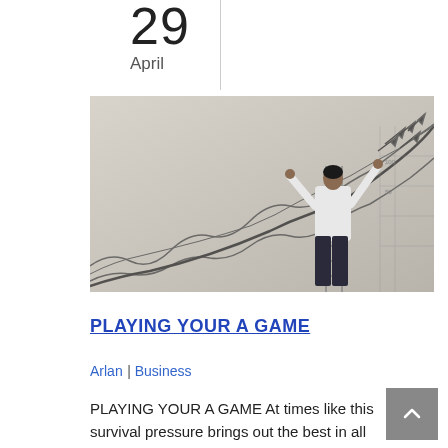29
April
[Figure (photo): A man standing on a ladder against a wall drawing upward trending graph lines and arrows, representing business growth strategy.]
PLAYING YOUR A GAME
Arlan | Business
PLAYING YOUR A GAME At times like this survival pressure brings out the best in all